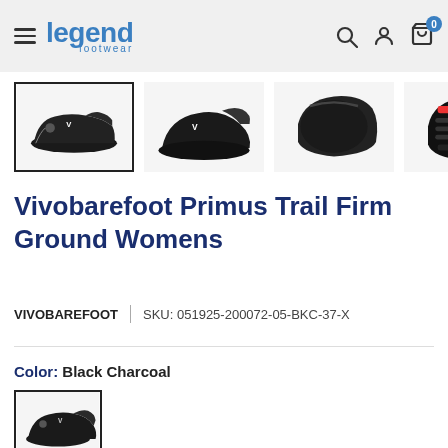legend footwear — navigation bar with hamburger menu, search, account, and cart icons
[Figure (photo): Four thumbnail images of Vivobarefoot Primus Trail Firm Ground Womens shoe in black. First thumbnail is selected (bordered). Views: side, front-angled, top, sole.]
Vivobarefoot Primus Trail Firm Ground Womens
VIVOBAREFOOT   |   SKU: 051925-200072-05-BKC-37-X
Color: Black Charcoal
[Figure (photo): Color swatch thumbnail showing black colorway of the shoe]